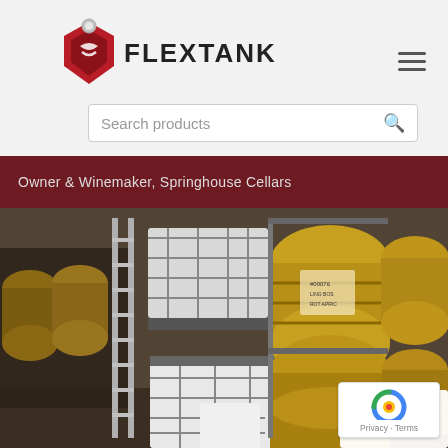[Figure (logo): Flextank logo with red diamond/shield icon and bold text FLEXTANK]
Search products
Owner & Winemaker, Springhouse Cellars
[Figure (photo): Winery cellar interior showing white IBC tote tanks in metal cages and wooden wine barrels stacked on racks, with a metal ladder on the left side]
Privacy · Terms